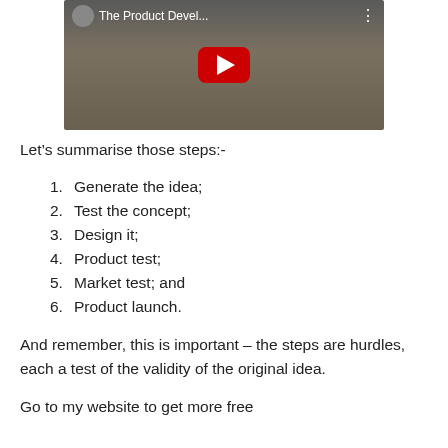[Figure (screenshot): YouTube video thumbnail showing a person standing in front of bookshelves. The video title reads 'The Product Devel...' with a YouTube play button overlay.]
Let’s summarise those steps:-
1. Generate the idea;
2. Test the concept;
3. Design it;
4. Product test;
5. Market test; and
6. Product launch.
And remember, this is important – the steps are hurdles, each a test of the validity of the original idea.
Go to my website to get more free